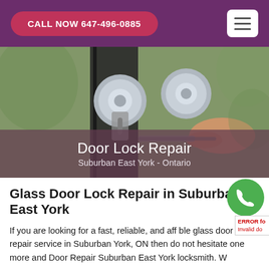CALL NOW 647-496-0885
[Figure (photo): Close-up photo of a hand inserting a key into a chrome door knob/lock on a dark door, with blurred green outdoor background. Overlaid text reads 'Door Lock Repair' and 'Suburban East York - Ontario'.]
Glass Door Lock Repair in Suburban East York
If you are looking for a fast, reliable, and affordable glass door lock repair service in Suburban East York, ON then do not hesitate one more and call Door Repair Suburban East York locksmith. W...